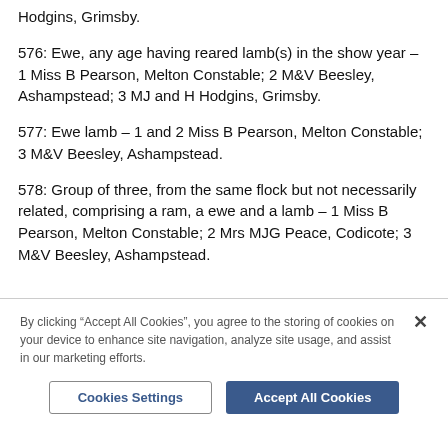Hodgins, Grimsby.
576: Ewe, any age having reared lamb(s) in the show year – 1 Miss B Pearson, Melton Constable; 2 M&V Beesley, Ashampstead; 3 MJ and H Hodgins, Grimsby.
577: Ewe lamb – 1 and 2 Miss B Pearson, Melton Constable; 3 M&V Beesley, Ashampstead.
578: Group of three, from the same flock but not necessarily related, comprising a ram, a ewe and a lamb – 1 Miss B Pearson, Melton Constable; 2 Mrs MJG Peace, Codicote; 3 M&V Beesley, Ashampstead.
By clicking "Accept All Cookies", you agree to the storing of cookies on your device to enhance site navigation, analyze site usage, and assist in our marketing efforts.
Cookies Settings
Accept All Cookies